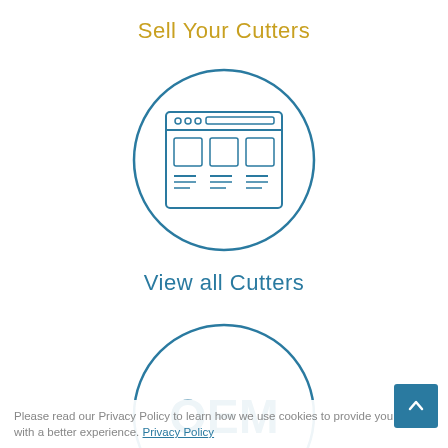Sell Your Cutters
[Figure (illustration): Circle icon containing a browser/website window graphic with three squares representing product listings, rendered in teal/blue outline style]
View all Cutters
[Figure (illustration): Circle icon containing the text 'OEM' in large teal letters, representing OEM services]
Please read our Privacy Policy to learn how we use cookies to provide you with a better experience. Privacy Policy